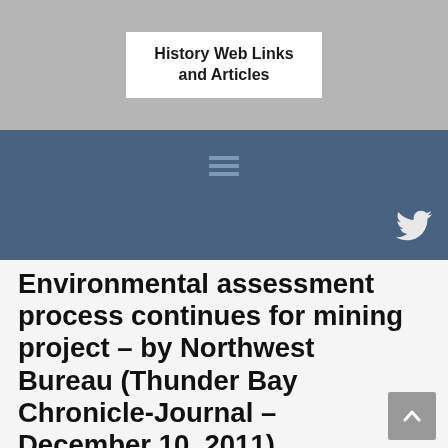History Web Links and Articles
[Figure (screenshot): Blue navigation bar with a centered icon and a Twitter bird icon on the right]
Environmental assessment process continues for mining project – by Northwest Bureau (Thunder Bay Chronicle-Journal – December 10, 2011)